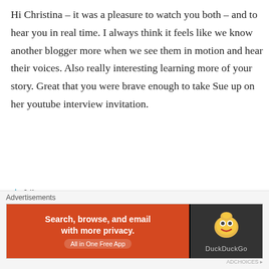Hi Christina – it was a pleasure to watch you both – and to hear you in real time. I always think it feels like we know another blogger more when we see them in motion and hear their voices. Also really interesting learning more of your story. Great that you were brave enough to take Sue up on her youtube interview invitation.
★ Like
Reply
Advertisements
[Figure (screenshot): DuckDuckGo advertisement banner: orange left panel with text 'Search, browse, and email with more privacy. All in One Free App', dark right panel with DuckDuckGo logo duck icon and 'DuckDuckGo' text.]